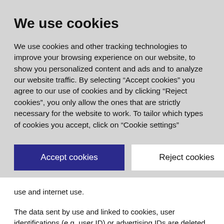We use cookies
We use cookies and other tracking technologies to improve your browsing experience on our website, to show you personalized content and ads and to analyze our website traffic. By selecting “Accept cookies” you agree to our use of cookies and by clicking “Reject cookies”, you only allow the ones that are strictly necessary for the website to work. To tailor which types of cookies you accept, click on “Cookie settings”
Accept cookies
Reject cookies
Cookie settings
use and internet use.
The data sent by use and linked to cookies, user identifications (e.g. user ID) or advertising IDs are deleted automatically after 14 months. The deletion of data for which the retention period has been reached takes place